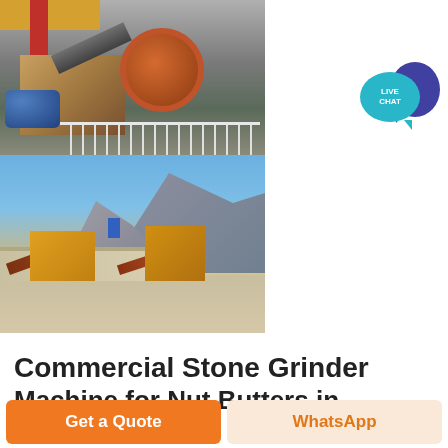[Figure (photo): Two photos of commercial stone grinding/crushing machinery. Top image shows a jaw crusher with red flywheel, yellow machinery body, blue cylinder and pipe components with metal railings. Bottom image shows an outdoor quarry stone crushing plant with conveyors, yellow machines, and mountain backdrop.]
[Figure (illustration): Live chat speech bubble icon — teal circle bubble with 'LIVE CHAT' text overlapping a purple speech bubble.]
Commercial Stone Grinder Machine for Nut Butters in
Get a Quote
WhatsApp